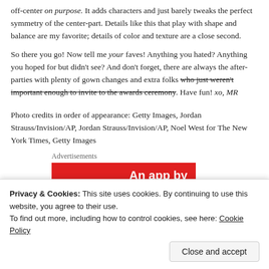off-center on purpose. It adds characters and just barely tweaks the perfect symmetry of the center-part. Details like this that play with shape and balance are my favorite; details of color and texture are a close second.
So there you go! Now tell me your faves! Anything you hated? Anything you hoped for but didn't see? And don't forget, there are always the after-parties with plenty of gown changes and extra folks who just weren't important enough to invite to the awards ceremony. Have fun! xo, MR
Photo credits in order of appearance: Getty Images, Jordan Strauss/Invision/AP, Jordan Strauss/Invision/AP, Noel West for The New York Times, Getty Images
Advertisements
[Figure (other): Red advertisement banner with white bold text 'An app by']
Privacy & Cookies: This site uses cookies. By continuing to use this website, you agree to their use.
To find out more, including how to control cookies, see here: Cookie Policy
Close and accept